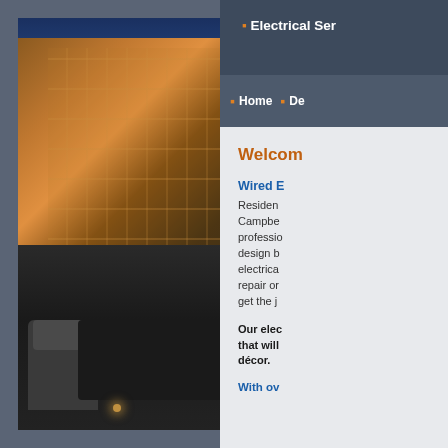[Figure (photo): Exterior evening photo of a modern luxury home with warm interior lighting, wooden structural columns, large glass windows, patio furniture (table and chairs), and tall evergreen trees against a twilight blue sky with mountain in background]
Electrical Ser...
Home | De...
Welcom...
Wired E...
Residen... Campbe... professio... design b... electrica... repair or... get the j...
Our elec... that will... décor.
With ov...